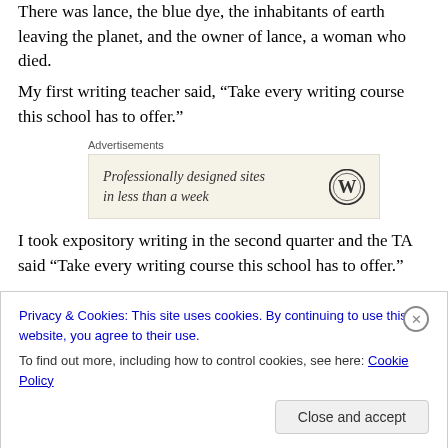There was lance, the blue dye, the inhabitants of earth leaving the planet, and the owner of lance, a woman who died.
My first writing teacher said, “Take every writing course this school has to offer.”
[Figure (infographic): Advertisement box with text 'Professionally designed sites in less than a week' and WordPress logo]
I took expository writing in the second quarter and the TA said “Take every writing course this school has to offer.”
Privacy & Cookies: This site uses cookies. By continuing to use this website, you agree to their use.
To find out more, including how to control cookies, see here: Cookie Policy